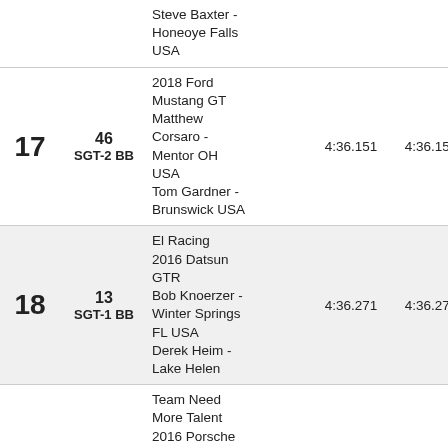| Pos | No / Class | Info | Time1 | Time2 | Pts |
| --- | --- | --- | --- | --- | --- |
|  |  | Steve Baxter - Honeoye Falls USA |  |  |  |
| 17 | 46 SGT-2 BB | 2018 Ford Mustang GT
Matthew Corsaro - Mentor OH USA
Tom Gardner - Brunswick USA | 4:36.151 | 4:36.151 | 340 |
| 18 | 13 SGT-1 BB | El Racing
2016 Datsun GTR
Bob Knoerzer - Winter Springs FL USA
Derek Heim - Lake Helen | 4:36.271 | 4:36.271 | 335 |
| 19 | 23 SGT-1 BB | Team Need More Talent
2016 Porsche GT3RS
Tony Song - Evergreen CO United States
Kip Kusser - Evergreen USA | 4:37.129 | 4:37.129 | 330 |